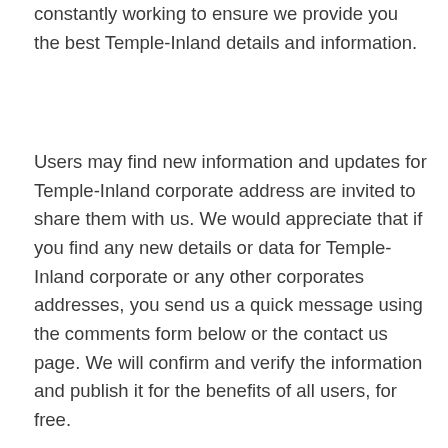constantly working to ensure we provide you the best Temple-Inland details and information.
Users may find new information and updates for Temple-Inland corporate address are invited to share them with us. We would appreciate that if you find any new details or data for Temple-Inland corporate or any other corporates addresses, you send us a quick message using the comments form below or the contact us page. We will confirm and verify the information and publish it for the benefits of all users, for free.